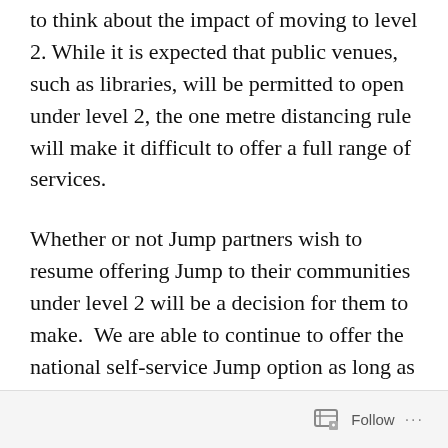to think about the impact of moving to level 2. While it is expected that public venues, such as libraries, will be permitted to open under level 2, the one metre distancing rule will make it difficult to offer a full range of services.
Whether or not Jump partners wish to resume offering Jump to their communities under level 2 will be a decision for them to make.  We are able to continue to offer the national self-service Jump option as long as it is required, but we also look forward to the day when all partners are able to resume providing the additional face-to-face support that so many
Follow ···